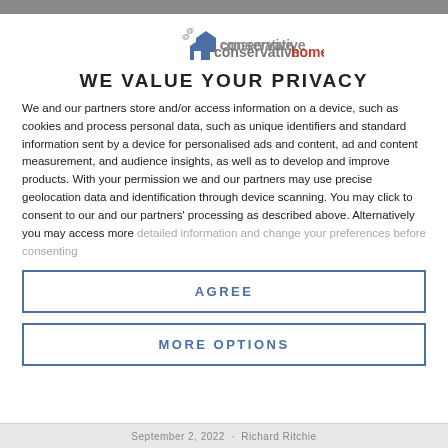[Figure (logo): ConservativeHome logo with house icon and text 'conservativehome']
WE VALUE YOUR PRIVACY
We and our partners store and/or access information on a device, such as cookies and process personal data, such as unique identifiers and standard information sent by a device for personalised ads and content, ad and content measurement, and audience insights, as well as to develop and improve products. With your permission we and our partners may use precise geolocation data and identification through device scanning. You may click to consent to our and our partners' processing as described above. Alternatively you may access more detailed information and change your preferences before consenting
AGREE
MORE OPTIONS
September 2, 2022 · Richard Ritchie